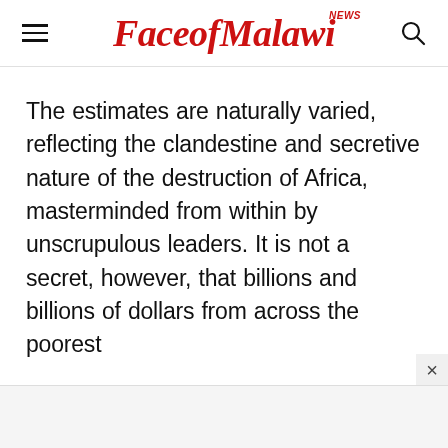FaceofMalawi NEWS
The estimates are naturally varied, reflecting the clandestine and secretive nature of the destruction of Africa, masterminded from within by unscrupulous leaders. It is not a secret, however, that billions and billions of dollars from across the poorest